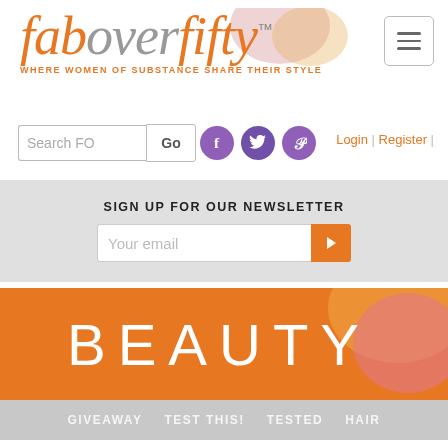[Figure (logo): faboverfifty logo with tagline 'WHERE WOMEN OF SUBSTANCE SHARE THEIR STYLE' and decorative speech bubble shapes]
[Figure (other): Hamburger menu icon (three horizontal lines) in a rounded rectangle border]
[Figure (other): Search box with 'Search FO' placeholder text and 'Go' button]
[Figure (other): Social media icons: Facebook, Twitter, Pinterest in purple circles]
Login | Register |
SIGN UP FOR OUR NEWSLETTER
[Figure (other): Email input field with 'Your email' placeholder and orange arrow submit button]
[Figure (other): BEAUTY banner in orange with decorative speech bubble shapes]
GIVEAWAY   TEST THIS!   TESTED   HAIR
Win Asrai's Touch, A Cool At-Home Fat-Freezing